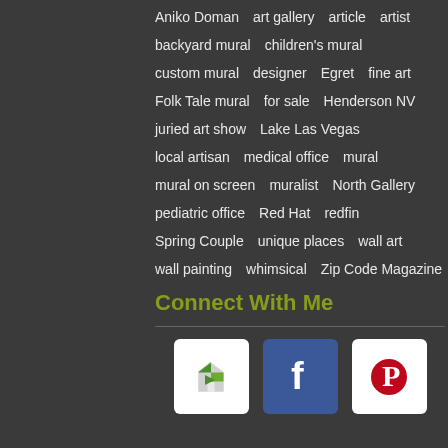Aniko Doman  art gallery  article  artist
backyard mural  children's mural
custom mural  designer  Egret  fine art
Folk Tale mural  for sale  Henderson NV
juried art show  Lake Las Vegas
local artisan  medical office  mural
mural on screen  muralist  North Gallery
pediatric office  Red Hat  redfin
Spring Couple  unique places  wall art
wall painting  whimsical  Zip Code Magazine
Connect With Me
[Figure (logo): Three social media icons: Houzz (green arrow logo on white), Facebook (f on blue), Pinterest (P on white/red)]